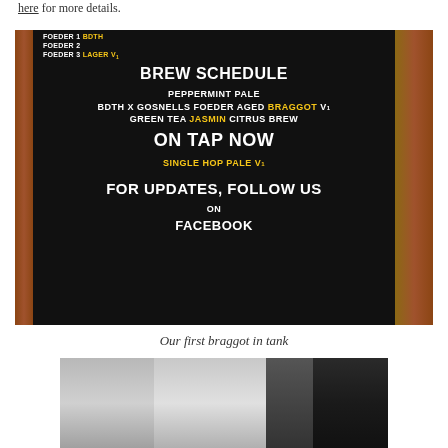here for more details.
[Figure (photo): A black letter board (menu/schedule board) in a brewery showing: FOEDER 1 BDTH, FOEDER 2, FOEDER 3 LAGER V1, BREW SCHEDULE, PEPPERMINT PALE, BDTH X GOSNELLS FOEDER AGED BRAGGOT V1, GREEN TEA JASMIN CITRUS BREW, ON TAP NOW, SINGLE HOP PALE V1, FOR UPDATES FOLLOW US ON FACEBOOK. Flanked by brown leather/cork side panels.]
Our first braggot in tank
[Figure (photo): Photo of brewery tanks, showing metallic/stainless steel tank surfaces in a dark setting.]